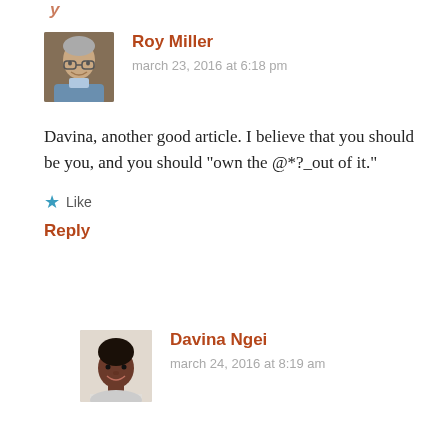[Figure (photo): Avatar photo of Roy Miller, older man with glasses]
Roy Miller
march 23, 2016 at 6:18 pm
Davina, another good article. I believe that you should be you, and you should “own the @*?_out of it.”
★ Like
Reply
[Figure (photo): Avatar photo of Davina Ngei, young woman smiling]
Davina Ngei
march 24, 2016 at 8:19 am